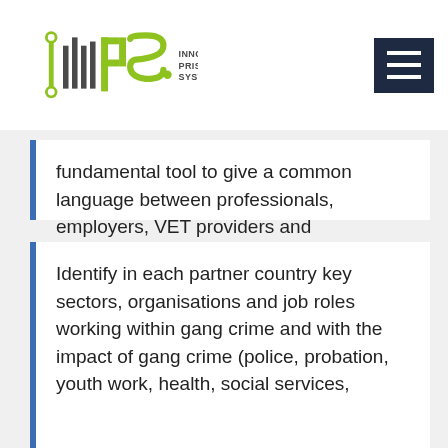[Figure (logo): IPS - Innovative Prison Systems logo with green circuit-board style graphic and gray text]
fundamental tool to give a common language between professionals, employers, VET providers and communities, in a context where even the definition of the problem is challenging: what is a gang for you and your community?
Identify in each partner country key sectors, organisations and job roles working within gang crime and with the impact of gang crime (police, probation, youth work, health, social services,